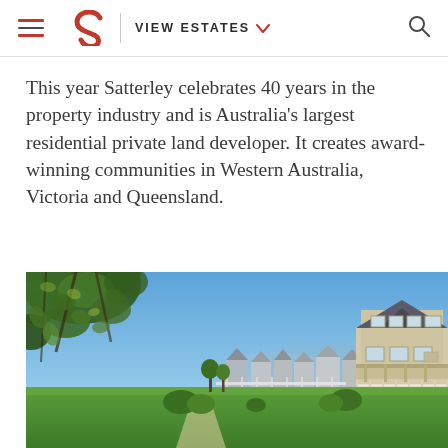VIEW ESTATES
This year Satterley celebrates 40 years in the property industry and is Australia's largest residential private land developer. It creates award-winning communities in Western Australia, Victoria and Queensland.
[Figure (photo): Photograph of a residential estate community: a two-storey modern home on the right side against a clear blue sky, with a row of houses in the background, green lawn in the foreground, and leafy tree branches visible in the upper left corner.]